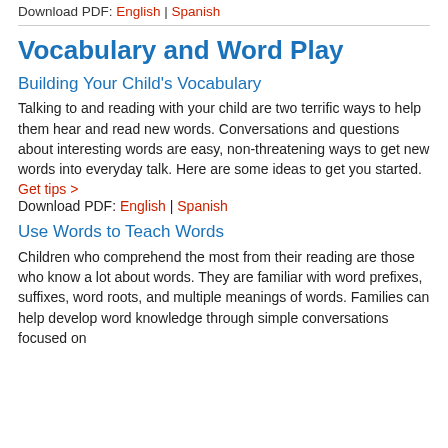Download PDF: English | Spanish
Vocabulary and Word Play
Building Your Child's Vocabulary
Talking to and reading with your child are two terrific ways to help them hear and read new words. Conversations and questions about interesting words are easy, non-threatening ways to get new words into everyday talk. Here are some ideas to get you started.
Get tips >
Download PDF: English | Spanish
Use Words to Teach Words
Children who comprehend the most from their reading are those who know a lot about words. They are familiar with word prefixes, suffixes, word roots, and multiple meanings of words. Families can help develop word knowledge through simple conversations focused on